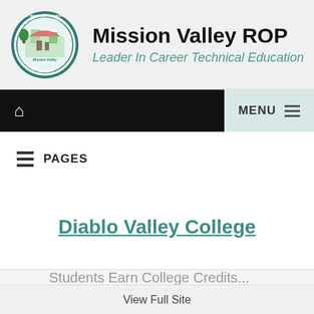[Figure (logo): Mission Valley ROP circular seal/logo with building illustration and text: NEWARK, NEW HAVEN, FREMONT, UNIFIED SCHOOL DISTRICTS, Mission Valley, Partners in Career Technical Education]
Mission Valley ROP
Leader In Career Technical Education
[Figure (other): Navigation bar with home icon on left and MENU button with hamburger icon on right]
PAGES
Diablo Valley College
View Full Site